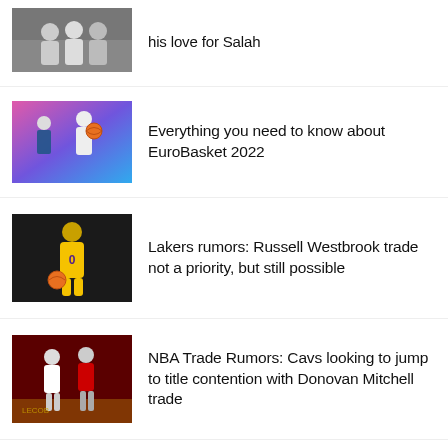his love for Salah
Everything you need to know about EuroBasket 2022
Lakers rumors: Russell Westbrook trade not a priority, but still possible
NBA Trade Rumors: Cavs looking to jump to title contention with Donovan Mitchell trade
Julian Edelman teams up with Sam Morril to create a new kind of sports podcast